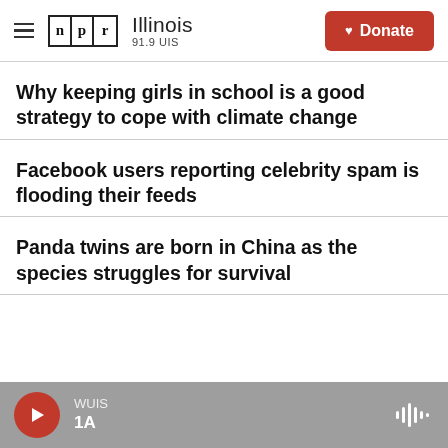NPR Illinois 91.9 UIS | Donate
Why keeping girls in school is a good strategy to cope with climate change
Facebook users reporting celebrity spam is flooding their feeds
Panda twins are born in China as the species struggles for survival
WUIS | 1A